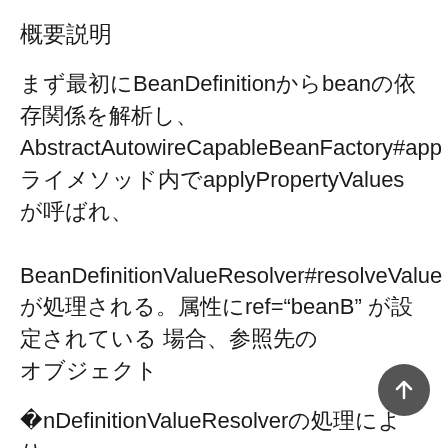概要説明
まず最初にBeanDefinitionからbeanの依存関係を解析し、AbstractAutowireCapableBeanFactory#applyPropertyValuesメソッド内でapplyPropertyValues が呼ばれ、BeanDefinitionValueResolver#resolveValueが処理される。属性にref="beanB" が設定されている場合、参照先のオブジェクト
・BeanDefinitionValueResolverの処理により、BeanBのインスタンスが取得されBeanBの生成処理がAbstractBeanFactory#doGetBean から始まり、DefaultSingletonBeanRegistry#getSingleto